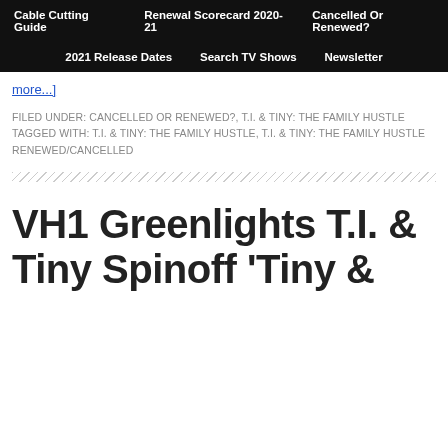Cable Cutting Guide | Renewal Scorecard 2020-21 | Cancelled Or Renewed? | 2021 Release Dates | Search TV Shows | Newsletter
more...]
FILED UNDER: CANCELLED OR RENEWED?, T.I. & TINY: THE FAMILY HUSTLE
TAGGED WITH: T.I. & TINY: THE FAMILY HUSTLE, T.I. & TINY: THE FAMILY HUSTLE RENEWED/CANCELLED
VH1 Greenlights T.I. & Tiny Spinoff 'Tiny &